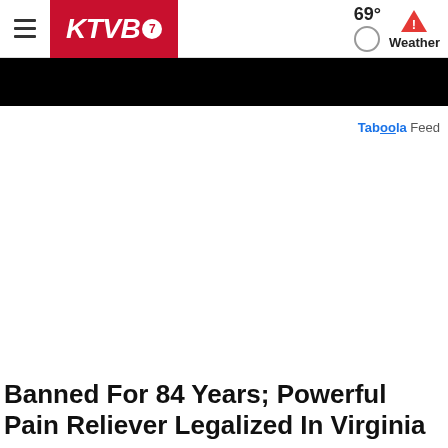KTVB7 — 69° Weather
[Figure (other): Black banner/advertisement bar below the KTVB7 navigation header]
Taboola Feed
Banned For 84 Years; Powerful Pain Reliever Legalized In Virginia